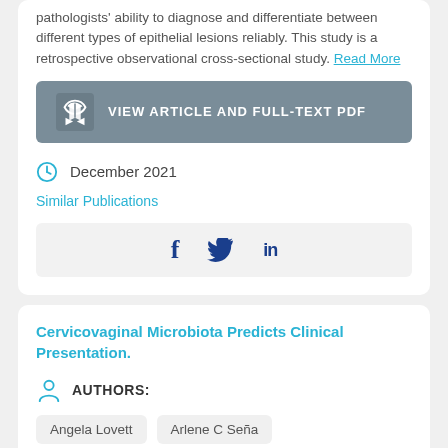pathologists' ability to diagnose and differentiate between different types of epithelial lesions reliably. This study is a retrospective observational cross-sectional study. Read More
[Figure (other): VIEW ARTICLE AND FULL-TEXT PDF button with book icon]
December 2021
Similar Publications
[Figure (other): Social sharing icons: Facebook (f), Twitter (bird), LinkedIn (in)]
Cervicovaginal Microbiota Predicts Clinical Presentation.
AUTHORS:
Angela Lovett
Arlene C Seña